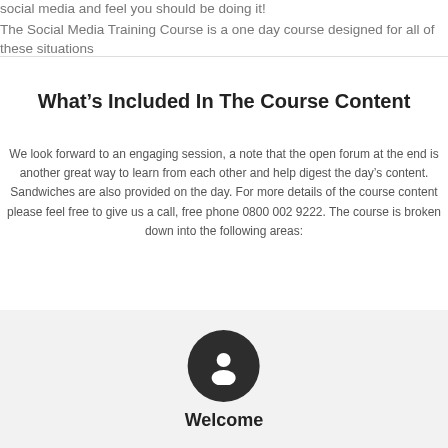social media and feel you should be doing it!
The Social Media Training Course is a one day course designed for all of these situations
What's Included In The Course Content
We look forward to an engaging session, a note that the open forum at the end is another great way to learn from each other and help digest the day's content. Sandwiches are also provided on the day. For more details of the course content please feel free to give us a call, free phone 0800 002 9222. The course is broken down into the following areas:
[Figure (illustration): Dark circular icon with a person/user silhouette in white]
Welcome